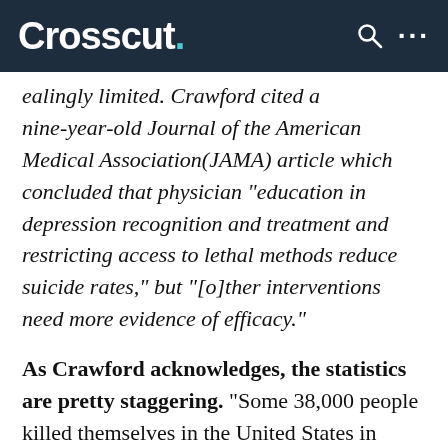Crosscut.
...ingly limited. Crawford cited a nine-year-old Journal of the American Medical Association(JAMA) article which concluded that physician "education in depression recognition and treatment and restricting access to lethal methods reduce suicide rates," but "[o]ther interventions need more evidence of efficacy."
As Crawford acknowledges, the statistics are pretty staggering. "Some 38,000 people killed themselves in the United States in 2010," the magazine Nature recently observed, citing a February report by the